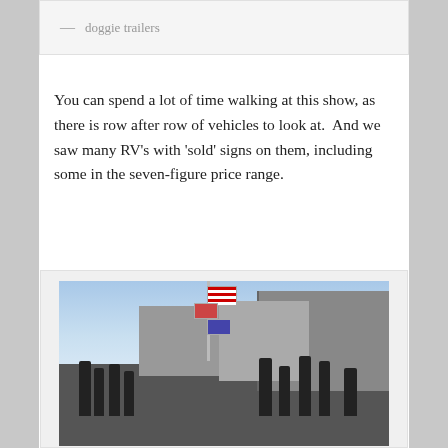— doggie trailers
You can spend a lot of time walking at this show, as there is row after row of vehicles to look at.  And we saw many RV's with 'sold' signs on them, including some in the seven-figure price range.
[Figure (photo): Outdoor RV show with rows of large motorhomes/trailers, people walking around, American flag and other flags on poles, blue sky with clouds in background.]